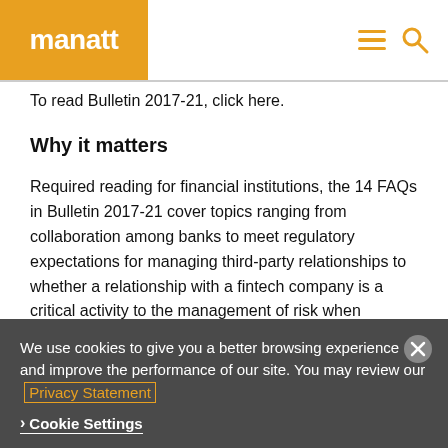manatt
To read Bulletin 2017-21, click here.
Why it matters
Required reading for financial institutions, the 14 FAQs in Bulletin 2017-21 cover topics ranging from collaboration among banks to meet regulatory expectations for managing third-party relationships to whether a relationship with a fintech company is a critical activity to the management of risk when
We use cookies to give you a better browsing experience and improve the performance of our site. You may review our Privacy Statement
Cookie Settings